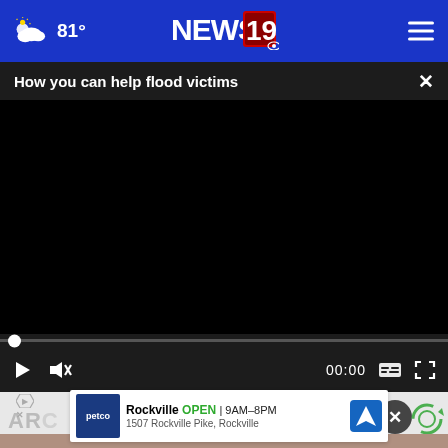81° NEWS 19
How you can help flood victims
[Figure (screenshot): Video player showing black screen with seek bar and playback controls. Time shown: 00:00. Controls include play, mute, captions, and fullscreen buttons.]
[Figure (screenshot): Advertisement banner for Petco Rockville, showing OPEN 9AM-8PM, 1507 Rockville Pike, Rockville, with navigation icon.]